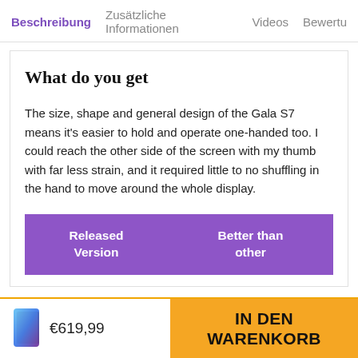Beschreibung   Zusätzliche Informationen   Videos   Bewertu
What do you get
The size, shape and general design of the Gala S7 means it's easier to hold and operate one-handed too. I could reach the other side of the screen with my thumb with far less strain, and it required little to no shuffling in the hand to move around the whole display.
| Released Version | Better than other |
| --- | --- |
€619,99
IN DEN WARENKORB